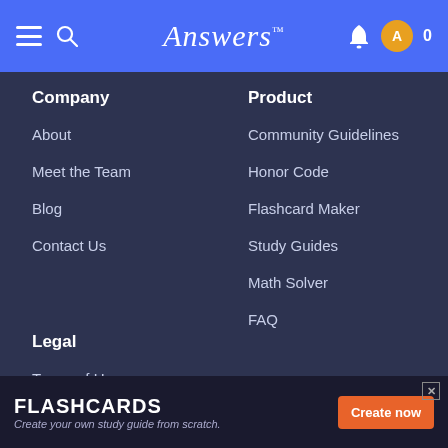Answers
Company
About
Meet the Team
Blog
Contact Us
Product
Community Guidelines
Honor Code
Flashcard Maker
Study Guides
Math Solver
FAQ
Legal
Terms of Use
Privacy Policy
[Figure (infographic): Ad banner for Flashcards feature: FLASHCARDS - Create your own study guide from scratch. Create now button.]